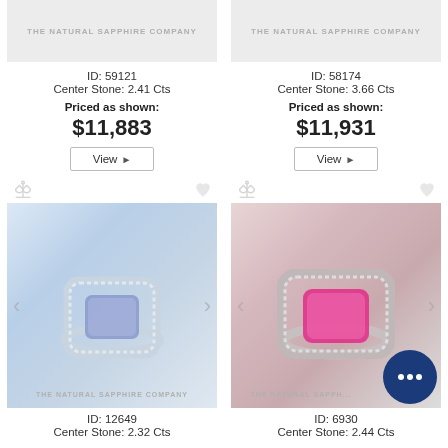[Figure (photo): Product listing image for ring ID 59121 with watermark THE NATURAL SAPPHIRE COMPANY]
ID: 59121
Center Stone: 2.41 Cts
Priced as shown:
$11,883
[Figure (photo): Product listing image for ring ID 58174 with watermark THE NATURAL SAPPHIRE COMPANY]
ID: 58174
Center Stone: 3.66 Cts
Priced as shown:
$11,931
[Figure (photo): Blue sapphire halo ring photo, ID 12649, The Natural Sapphire Company watermark, with navigation arrows]
ID: 12649
Center Stone: 2.32 Cts
[Figure (photo): Pink sapphire halo ring photo, ID 6930, The Natural Sapphire Company watermark, with navigation arrows and chat bubble overlay]
ID: 6930
Center Stone: 2.44 Cts